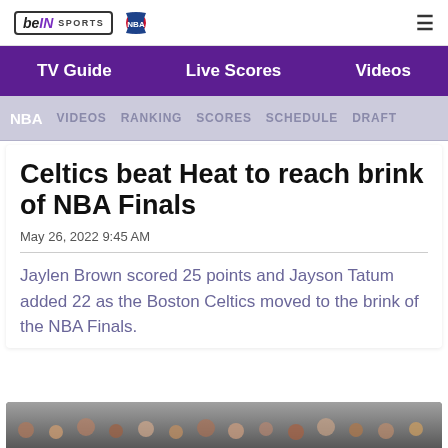beIN SPORTS | NBA
TV Guide | Live Scores | Videos
NBA  VIDEOS  RANKING  SCORES  SCHEDULE  DRAFT
Celtics beat Heat to reach brink of NBA Finals
May 26, 2022 9:45 AM
Jaylen Brown scored 25 points and Jayson Tatum added 22 as the Boston Celtics moved to the brink of the NBA Finals.
[Figure (photo): Crowd photo at bottom of page, partially visible]